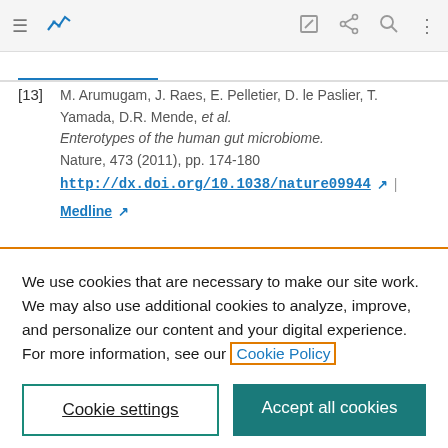Navigation bar with menu, chart icon, edit icon, share icon, search icon, more options icon
[13] M. Arumugam, J. Raes, E. Pelletier, D. le Paslier, T. Yamada, D.R. Mende, et al. Enterotypes of the human gut microbiome. Nature, 473 (2011), pp. 174-180 http://dx.doi.org/10.1038/nature09944 | Medline
We use cookies that are necessary to make our site work. We may also use additional cookies to analyze, improve, and personalize our content and your digital experience. For more information, see our Cookie Policy
Cookie settings | Accept all cookies